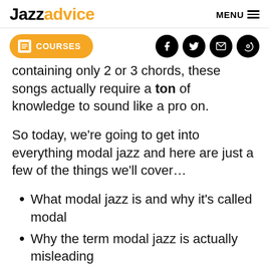Jazzadvice   MENU
containing only 2 or 3 chords, these songs actually require a ton of knowledge to sound like a pro on.
So today, we're going to get into everything modal jazz and here are just a few of the things we'll cover…
What modal jazz is and why it's called modal
Why the term modal jazz is actually misleading